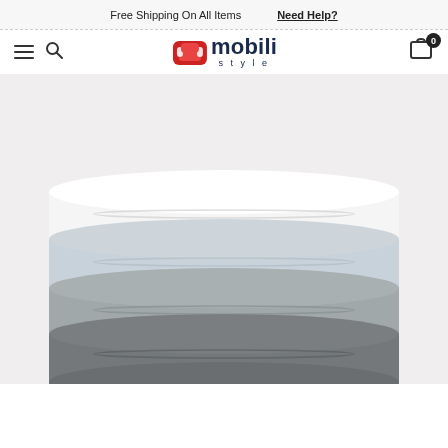Free Shipping On All Items    Need Help?
[Figure (logo): Mobili Style logo with red sofa icon and dark blue text]
[Figure (photo): Stack of four folded bed sheets in white, light gray, medium gray, and dark gray colors, arranged from top to bottom on a light background]